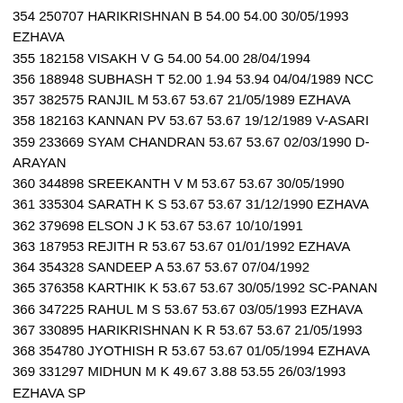354 250707 HARIKRISHNAN B 54.00 54.00 30/05/1993 EZHAVA
355 182158 VISAKH V G 54.00 54.00 28/04/1994
356 188948 SUBHASH T 52.00 1.94 53.94 04/04/1989 NCC
357 382575 RANJIL M 53.67 53.67 21/05/1989 EZHAVA
358 182163 KANNAN PV 53.67 53.67 19/12/1989 V-ASARI
359 233669 SYAM CHANDRAN 53.67 53.67 02/03/1990 D-ARAYAN
360 344898 SREEKANTH V M 53.67 53.67 30/05/1990
361 335304 SARATH K S 53.67 53.67 31/12/1990 EZHAVA
362 379698 ELSON J K 53.67 53.67 10/10/1991
363 187953 REJITH R 53.67 53.67 01/01/1992 EZHAVA
364 354328 SANDEEP A 53.67 53.67 07/04/1992
365 376358 KARTHIK K 53.67 53.67 30/05/1992 SC-PANAN
366 347225 RAHUL M S 53.67 53.67 03/05/1993 EZHAVA
367 330895 HARIKRISHNAN K R 53.67 53.67 21/05/1993
368 354780 JYOTHISH R 53.67 53.67 01/05/1994 EZHAVA
369 331297 MIDHUN M K 49.67 3.88 53.55 26/03/1993 EZHAVA SP